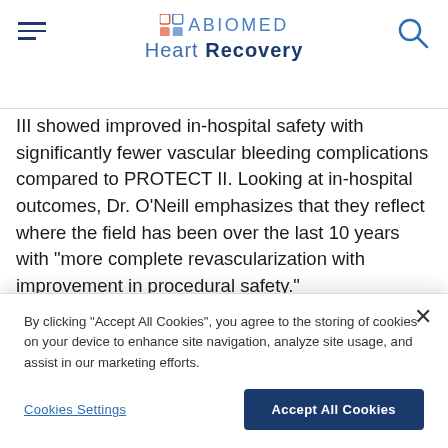ABIOMED Heart Recovery
III showed improved in-hospital safety with significantly fewer vascular bleeding complications compared to PROTECT II. Looking at in-hospital outcomes, Dr. O’Neill emphasizes that they reflect where the field has been over the last 10 years with “more complete revascularization with improvement in procedural safety.”

Gregg Stone, MD, the primary investigator for PROTECT
By clicking “Accept All Cookies”, you agree to the storing of cookies on your device to enhance site navigation, analyze site usage, and assist in our marketing efforts.
Cookies Settings
Accept All Cookies